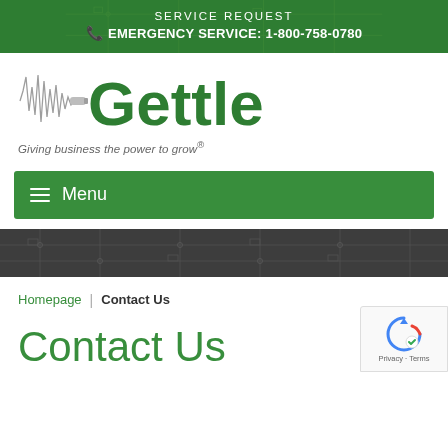SERVICE REQUEST
☎ EMERGENCY SERVICE: 1-800-758-0780
[Figure (logo): Gettle company logo with waveform graphic and text 'Gettle']
Giving business the power to grow®
≡ Menu
[Figure (illustration): Dark grey circuit board pattern banner]
Homepage | Contact Us
Contact Us